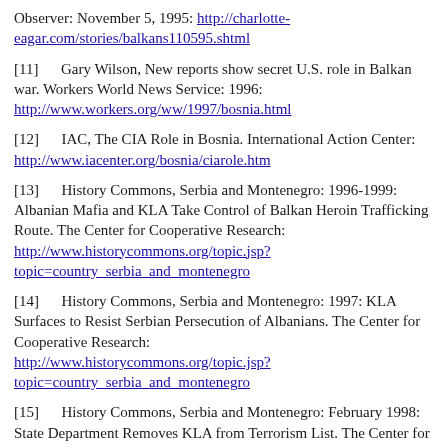Observer: November 5, 1995: http://charlotte-eagar.com/stories/balkans110595.shtml
[11]   Gary Wilson, New reports show secret U.S. role in Balkan war. Workers World News Service: 1996: http://www.workers.org/ww/1997/bosnia.html
[12]   IAC, The CIA Role in Bosnia. International Action Center: http://www.iacenter.org/bosnia/ciarole.htm
[13]   History Commons, Serbia and Montenegro: 1996-1999: Albanian Mafia and KLA Take Control of Balkan Heroin Trafficking Route. The Center for Cooperative Research: http://www.historycommons.org/topic.jsp?topic=country_serbia_and_montenegro
[14]   History Commons, Serbia and Montenegro: 1997: KLA Surfaces to Resist Serbian Persecution of Albanians. The Center for Cooperative Research: http://www.historycommons.org/topic.jsp?topic=country_serbia_and_montenegro
[15]   History Commons, Serbia and Montenegro: February 1998: State Department Removes KLA from Terrorism List. The Center for Cooperative Research: http://www.historycommons.org/topic.jsp?